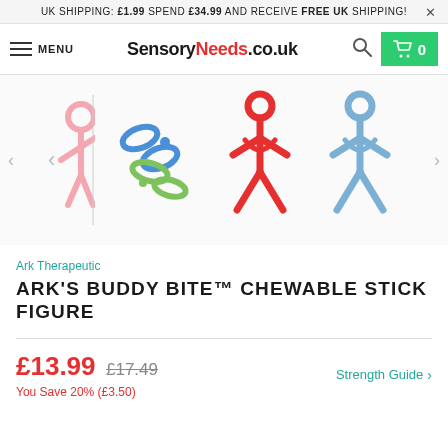UK SHIPPING: £1.99 SPEND £34.99 AND RECEIVE FREE UK SHIPPING!
MENU SensoryNeeds.co.uk [search] [cart 0]
[Figure (photo): Product image carousel showing Ark Buddy Bite Chewable Stick Figure toys in various colors: pink (partially visible), blue and green scissors-shaped chewable, red stick figure, and blue stick figure. Left and right navigation arrows visible.]
Ark Therapeutic
ARK'S BUDDY BITE™ CHEWABLE STICK FIGURE
£13.99  £17.49
You Save 20% (£3.50)
Strength Guide >